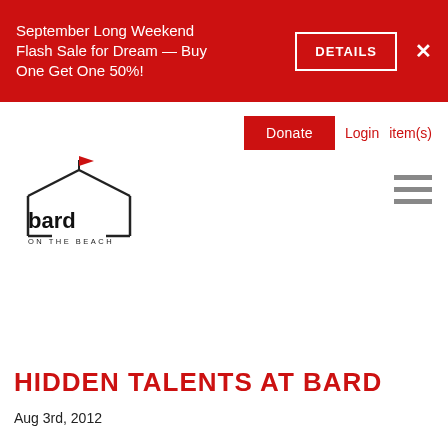September Long Weekend Flash Sale for Dream — Buy One Get One 50%!
DETAILS
×
Donate
Login
item(s)
[Figure (logo): Bard on the Beach logo — tent outline with red flag, text 'bard ON THE BEACH']
HIDDEN TALENTS AT BARD
Aug 3rd, 2012